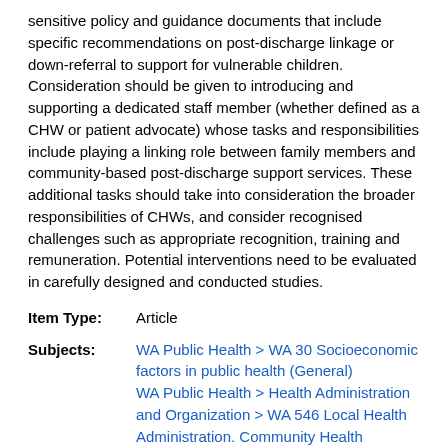sensitive policy and guidance documents that include specific recommendations on post-discharge linkage or down-referral to support for vulnerable children. Consideration should be given to introducing and supporting a dedicated staff member (whether defined as a CHW or patient advocate) whose tasks and responsibilities include playing a linking role between family members and community-based post-discharge support services. These additional tasks should take into consideration the broader responsibilities of CHWs, and consider recognised challenges such as appropriate recognition, training and remuneration. Potential interventions need to be evaluated in carefully designed and conducted studies.
| Item Type: | Article |
| Subjects: | WA Public Health > WA 30 Socioeconomic factors in public health (General)
WA Public Health > Health Administration and Organization > WA 546 Local Health Administration. Community Health Services
WS Pediatrics > Child Care. Nutrition. Physical Examination > WS 115 Nutritional requirements. Nutrition disorders
WS Pediatrics > WS 20 Research (General) |